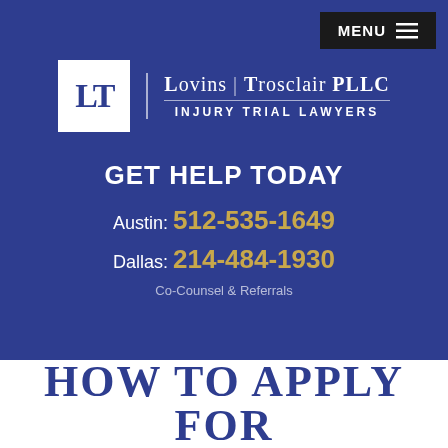MENU ☰
[Figure (logo): Lovins Trosclair PLLC logo — white LT monogram in a square box beside the firm name and tagline]
GET HELP TODAY
Austin: 512-535-1649
Dallas: 214-484-1930
Co-Counsel & Referrals
HOW TO APPLY FOR